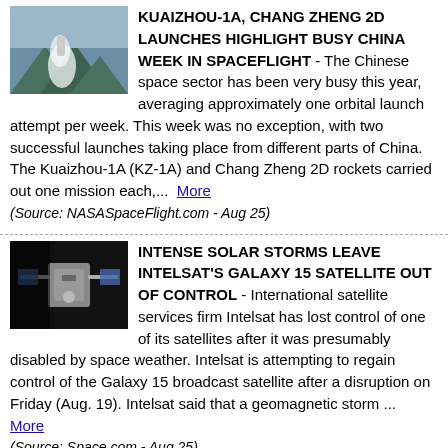[Figure (photo): Rocket launch with smoke and mountains in background]
KUAIZHOU-1A, CHANG ZHENG 2D LAUNCHES HIGHLIGHT BUSY CHINA WEEK IN SPACEFLIGHT - The Chinese space sector has been very busy this year, averaging approximately one orbital launch attempt per week. This week was no exception, with two successful launches taking place from different parts of China. The Kuaizhou-1A (KZ-1A) and Chang Zheng 2D rockets carried out one mission each,... More (Source: NASASpaceFlight.com - Aug 25)
[Figure (photo): Satellite spacecraft image with dark background]
INTENSE SOLAR STORMS LEAVE INTELSAT'S GALAXY 15 SATELLITE OUT OF CONTROL - International satellite services firm Intelsat has lost control of one of its satellites after it was presumably disabled by space weather. Intelsat is attempting to regain control of the Galaxy 15 broadcast satellite after a disruption on Friday (Aug. 19). Intelsat said that a geomagnetic storm ... More (Source: Space.com - Aug 25)
[Figure (photo): Space station concept in dark space]
BLUE ORIGIN'S PRIVATE ORBITAL REEF SPACE STATION PASSES KEY DESIGN REVIEW - A private space station that Jeff Bezos' Blue Origin and other partners plan to build just cleared a hurdle on its path to orbit. Orbital Reef — a project involving Blue Origin, Sierra Space, Boeing and a number of other